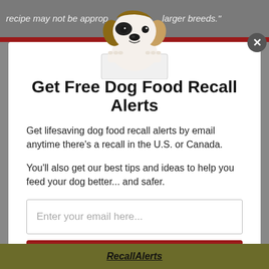recipe may not be appropriate for larger breeds."
[Figure (photo): Puppy dog peering over a white sign, Jack Russell Terrier style, white and brown coloring]
Get Free Dog Food Recall Alerts
Get lifesaving dog food recall alerts by email anytime there's a recall in the U.S. or Canada.
You'll also get our best tips and ideas to help you feed your dog better... and safer.
Enter your email here...
Send Me Recall Alerts
No spam ever. Unsubscribe anytime.
RecallAlerts